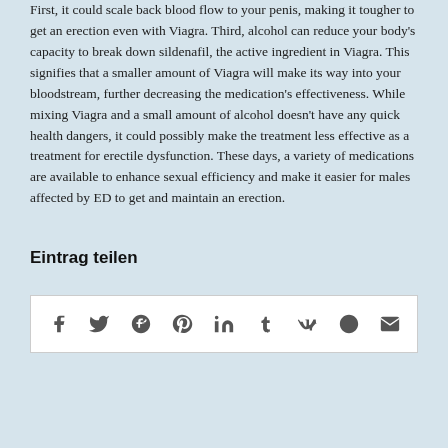First, it could scale back blood flow to your penis, making it tougher to get an erection even with Viagra. Third, alcohol can reduce your body's capacity to break down sildenafil, the active ingredient in Viagra. This signifies that a smaller amount of Viagra will make its way into your bloodstream, further decreasing the medication's effectiveness. While mixing Viagra and a small amount of alcohol doesn't have any quick health dangers, it could possibly make the treatment less effective as a treatment for erectile dysfunction. These days, a variety of medications are available to enhance sexual efficiency and make it easier for males affected by ED to get and maintain an erection.
Eintrag teilen
[Figure (other): Social sharing bar with icons for Facebook, Twitter, Google+, Pinterest, LinkedIn, Tumblr, VK, Reddit, and Email on a white background with border.]